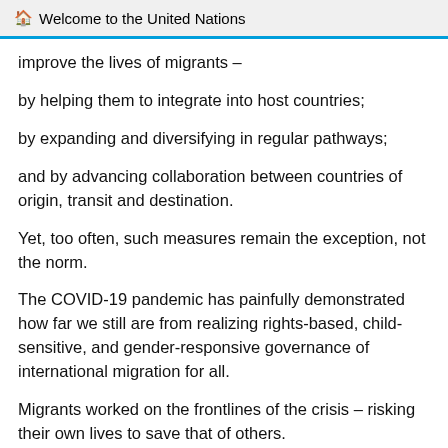Welcome to the United Nations
improve the lives of migrants –
by helping them to integrate into host countries;
by expanding and diversifying in regular pathways;
and by advancing collaboration between countries of origin, transit and destination.
Yet, too often, such measures remain the exception, not the norm.
The COVID-19 pandemic has painfully demonstrated how far we still are from realizing rights-based, child-sensitive, and gender-responsive governance of international migration for all.
Migrants worked on the frontlines of the crisis – risking their own lives to save that of others.